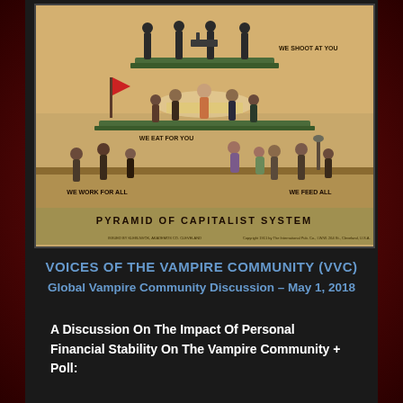[Figure (illustration): Pyramid of Capitalist System — a classic early 20th-century socialist poster showing a multi-tiered pyramid of society. Top tier: soldiers labeled 'WE SHOOT AT YOU'. Middle tiers: clergy/rulers labeled 'WE EAT FOR YOU'. Bottom tier: workers labeled 'WE WORK FOR ALL' and 'WE FEED ALL'. Title at bottom reads 'PYRAMID OF CAPITALIST SYSTEM'.]
VOICES OF THE VAMPIRE COMMUNITY (VVC)
Global Vampire Community Discussion – May 1, 2018
A Discussion On The Impact Of Personal Financial Stability On The Vampire Community + Poll: